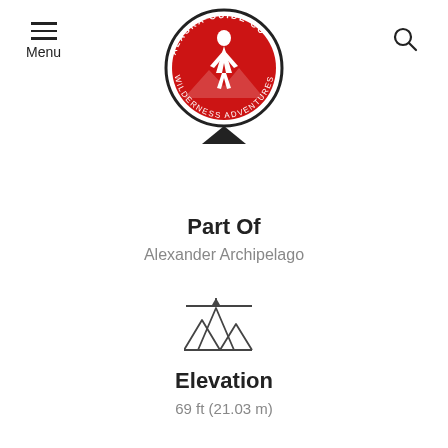[Figure (logo): Alaska Guide Co Wilderness Adventures circular logo with red hiker on mountain background, black border with text around circumference]
Part Of
Alexander Archipelago
[Figure (illustration): Mountains with elevation arrow icon, line art style]
Elevation
69 ft (21.03 m)
[Figure (illustration): Walking person icon, gray silhouette]
Uses